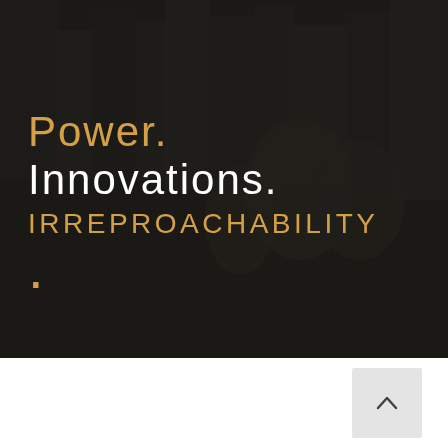[Figure (photo): Dark-toned background photo of people in an office or meeting setting, with a dark semi-transparent overlay. Text overlay reads: Power. / Innovations. / IRREPROACHABILITY / .]
Power. Innovations. IRREPROACHABILITY .
[Figure (other): Light gray square button with an upward-pointing chevron arrow, positioned in the bottom-right area of the page below the hero image.]